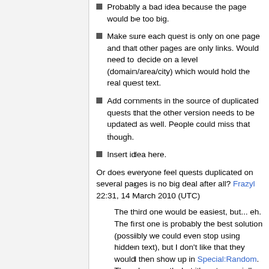Probably a bad idea because the page would be too big.
Make sure each quest is only on one page and that other pages are only links. Would need to decide on a level (domain/area/city) which would hold the real quest text.
Add comments in the source of duplicated quests that the other version needs to be updated as well. People could miss that though.
Insert idea here.
Or does everyone feel quests duplicated on several pages is no big deal after all? Frazyl 22:31, 14 March 2010 (UTC)
The third one would be easiest, but... eh. The first one is probably the best solution (possibly we could even stop using hidden text), but I don't like that they would then show up in Special:Random. They do currently, but it's not especially important because 1)there are comparatively few of them, and 2)spoilers are hidden and mostly below the fold anyway. There are only